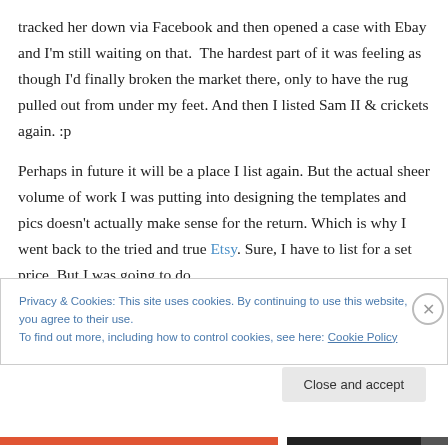tracked her down via Facebook and then opened a case with Ebay and I'm still waiting on that.  The hardest part of it was feeling as though I'd finally broken the market there, only to have the rug pulled out from under my feet. And then I listed Sam II & crickets again. :p

Perhaps in future it will be a place I list again. But the actual sheer volume of work I was putting into designing the templates and pics doesn't actually make sense for the return. Which is why I went back to the tried and true Etsy. Sure, I have to list for a set price. But I was going to do
Privacy & Cookies: This site uses cookies. By continuing to use this website, you agree to their use.
To find out more, including how to control cookies, see here: Cookie Policy